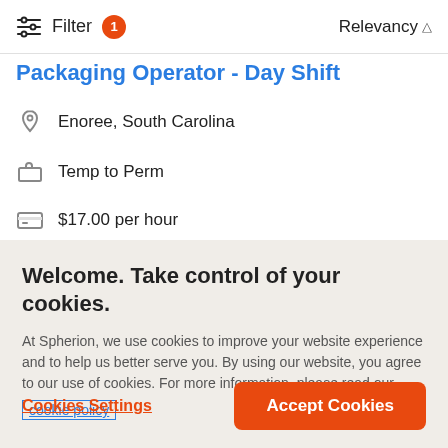Filter 1   Relevancy
Packaging Operator - Day Shift
Enoree, South Carolina
Temp to Perm
$17.00 per hour
7:45 AM - 8:00 PM
Welcome. Take control of your cookies.
At Spherion, we use cookies to improve your website experience and to help us better serve you. By using our website, you agree to our use of cookies. For more information, please read our cookie policy
Cookies Settings
Accept Cookies